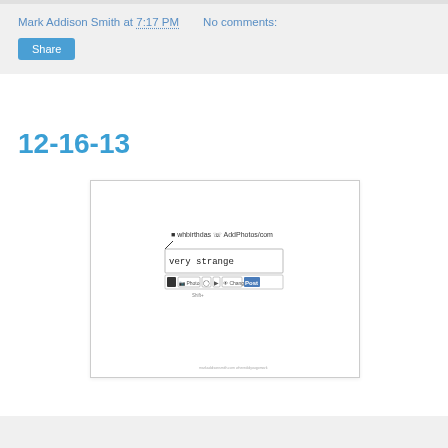Mark Addison Smith at 7:17 PM    No comments:
Share
12-16-13
[Figure (screenshot): A screenshot or sketch showing a Facebook-style status update interface with the text 'very strange' typed into a post box, with various toolbar icons and an 'Add Photos' link visible above.]